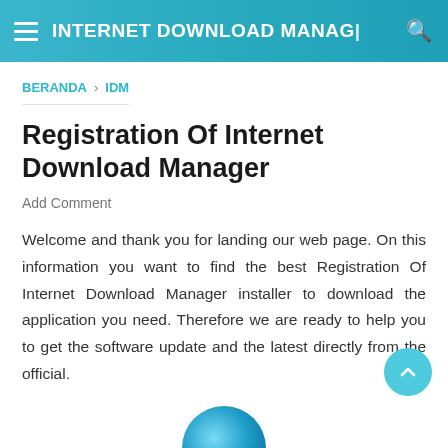INTERNET DOWNLOAD MANAGER
BERANDA › IDM
Registration Of Internet Download Manager
Add Comment
Welcome and thank you for landing our web page. On this information you want to find the best Registration Of Internet Download Manager installer to download the application you need. Therefore we are ready to help you to get the software update and the latest directly from the official.
[Figure (logo): Partial globe/logo icon visible at the bottom of the page]